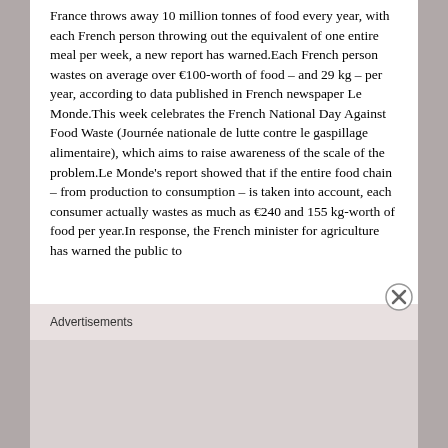France throws away 10 million tonnes of food every year, with each French person throwing out the equivalent of one entire meal per week, a new report has warned.Each French person wastes on average over €100-worth of food – and 29 kg – per year, according to data published in French newspaper Le Monde.This week celebrates the French National Day Against Food Waste (Journée nationale de lutte contre le gaspillage alimentaire), which aims to raise awareness of the scale of the problem.Le Monde's report showed that if the entire food chain – from production to consumption – is taken into account, each consumer actually wastes as much as €240 and 155 kg-worth of food per year.In response, the French minister for agriculture has warned the public to
Advertisements